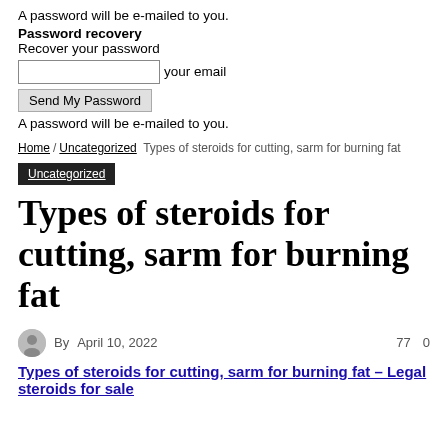A password will be e-mailed to you.
Password recovery
Recover your password
your email
Send My Password
A password will be e-mailed to you.
Home / Uncategorized Types of steroids for cutting, sarm for burning fat
Uncategorized
Types of steroids for cutting, sarm for burning fat
By  April 10, 2022  77  0
Types of steroids for cutting, sarm for burning fat – Legal steroids for sale